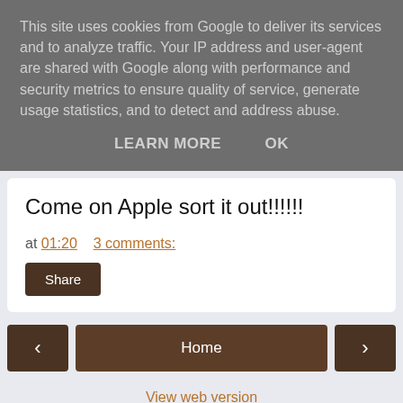This site uses cookies from Google to deliver its services and to analyze traffic. Your IP address and user-agent are shared with Google along with performance and security metrics to ensure quality of service, generate usage statistics, and to detect and address abuse.
LEARN MORE   OK
Come on Apple sort it out!!!!!!
at 01:20   3 comments:
Share
‹   Home   ›
View web version
Powered by Blogger.